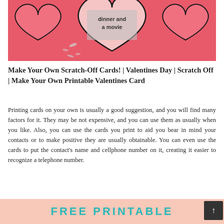[Figure (photo): Photo of pink heart-shaped scratch-off cards on a red/pink background. One heart card shows text 'dinner and a movie' with scratched silver coating partially removed.]
Make Your Own Scratch-Off Cards! | Valentines Day | Scratch Off | Make Your Own Printable Valentines Card
Printing cards on your own is usually a good suggestion, and you will find many factors for it. They may be not expensive, and you can use them as usually when you like. Also, you can use the cards you print to aid you bear in mind your contacts or to make positive they are usually obtainable. You can even use the cards to put the contact's name and cellphone number on it, creating it easier to recognize a telephone number.
FREE PRINTABLE